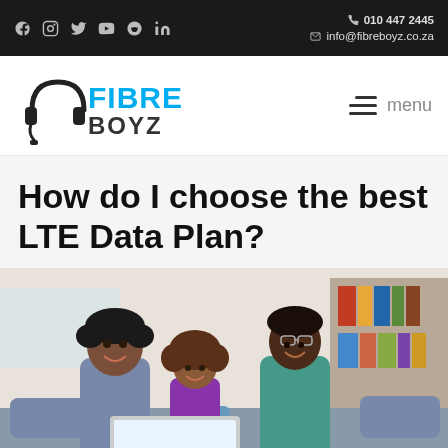010 447 2445 | info@fibreboyz.co.za | Social icons: Facebook, Instagram, Twitter, YouTube, Reddit, LinkedIn
[Figure (logo): Fibre Boyz logo with headphone graphic and blue text reading FIBRE BOYZ]
menu
How do I choose the best LTE Data Plan?
[Figure (photo): A smiling family of three — a man, a young girl, and a woman — looking at something together, possibly a laptop, in a home setting with bookshelves in the background.]